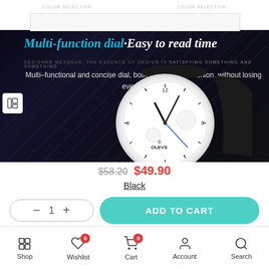[Figure (photo): Product page screenshot of a watch on e-commerce app. Shows watch advertisement with dark background, text 'Multi-function dial Easy to read time', description text about multi-functional dial, and close-up of OLEVS watch with white dial and black leather strap.]
$58.20 $49.90
Black
ADD TO CART
Shop   Wishlist   Cart   Account   Search